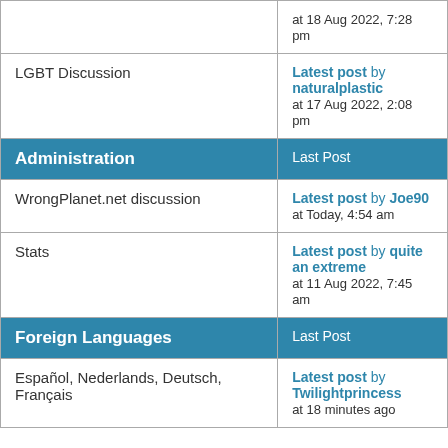| Forum | Last Post |
| --- | --- |
| LGBT Discussion | Latest post by naturalplastic
at 17 Aug 2022, 2:08 pm |
| Administration | Last Post |
| WrongPlanet.net discussion | Latest post by Joe90
at Today, 4:54 am |
| Stats | Latest post by quite an extreme
at 11 Aug 2022, 7:45 am |
| Foreign Languages | Last Post |
| Español, Nederlands, Deutsch, Français | Latest post by Twilightprincess
at 18 minutes ago |
Board index